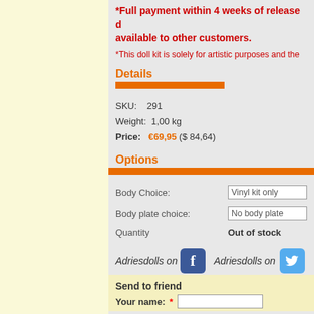*Full payment within 4 weeks of release date, available to other customers.
*This doll kit is solely for artistic purposes and the...
Details
SKU: 291
Weight: 1,00 kg
Price: €69,95 ($ 84,64)
Options
Body Choice: Vinyl kit only
Body plate choice: No body plate
Quantity  Out of stock
[Figure (other): Adriesdolls on Facebook and Adriesdolls on Twitter social media icons]
Send to friend
Your name: